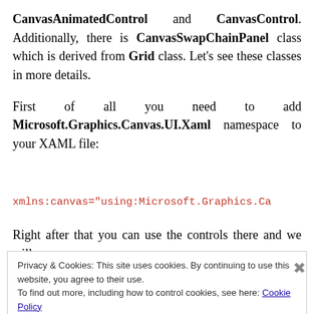CanvasAnimatedControl and CanvasControl. Additionally, there is CanvasSwapChainPanel class which is derived from Grid class. Let's see these classes in more details.
First of all you need to add Microsoft.Graphics.Canvas.UI.Xaml namespace to your XAML file:
xmlns:canvas="using:Microsoft.Graphics.Ca
Right after that you can use the controls there and we will
Privacy & Cookies: This site uses cookies. By continuing to use this website, you agree to their use.
To find out more, including how to control cookies, see here: Cookie Policy